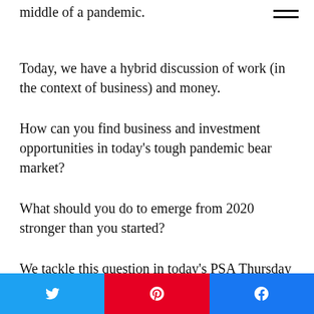middle of a pandemic.
Today, we have a hybrid discussion of work (in the context of business) and money.
How can you find business and investment opportunities in today's tough pandemic bear market?
What should you do to emerge from 2020 stronger than you started?
We tackle this question in today's PSA Thursday episode. Here are 7 specific,